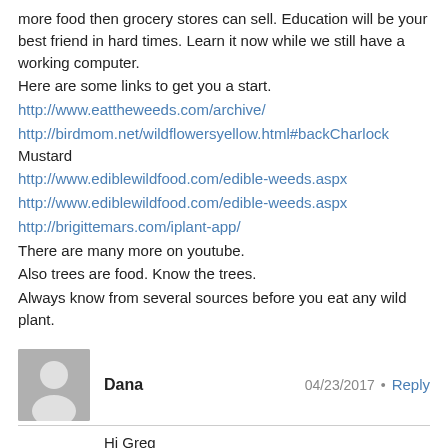more food then grocery stores can sell. Education will be your best friend in hard times. Learn it now while we still have a working computer.
Here are some links to get you a start.
http://www.eattheweeds.com/archive/
http://birdmom.net/wildflowersyellow.html#backCharlock Mustard
http://www.ediblewildfood.com/edible-weeds.aspx
http://www.ediblewildfood.com/edible-weeds.aspx
http://brigittemars.com/iplant-app/
There are many more on youtube.
Also trees are food. Know the trees.
Always know from several sources before you eat any wild plant.
Dana
04/23/2017
Reply
Hi Greg
Thank you for another great guest. Like i said before your USAWatchdog.com is real news. I hope people wake up before it is to late. I stay up on Saturday nights just to get the early release. Thanks so much for all your hard work and God bless.